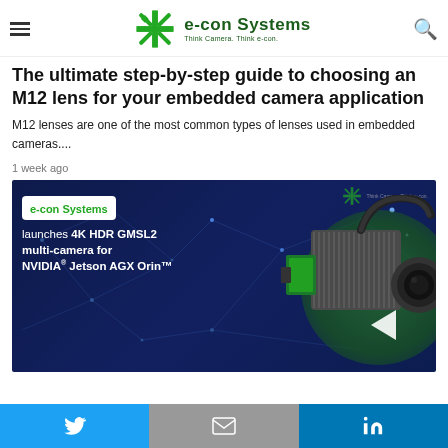e-con Systems — Think Camera. Think e-con.
The ultimate step-by-step guide to choosing an M12 lens for your embedded camera application
M12 lenses are one of the most common types of lenses used in embedded cameras....
1 week ago
[Figure (photo): e-con Systems product banner on dark blue background showing launch of 4K HDR GMSL2 multi-camera for NVIDIA Jetson AGX Orin, with product image on the right]
Twitter | Email | LinkedIn share buttons